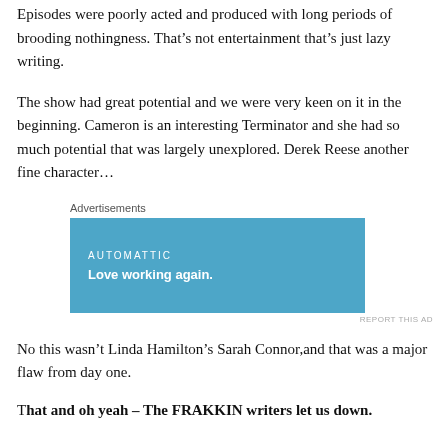boring.
Episodes were poorly acted and produced with long periods of brooding nothingness. That’s not entertainment that’s just lazy writing.
The show had great potential and we were very keen on it in the beginning. Cameron is an interesting Terminator and she had so much potential that was largely unexplored. Derek Reese another fine character…
[Figure (other): Advertisement banner for Automattic with text 'Love working again.' on a blue background]
No this wasn’t Linda Hamilton’s Sarah Connor,and that was a major flaw from day one.
That and oh yeah – The FRAKKIN writers let us down.